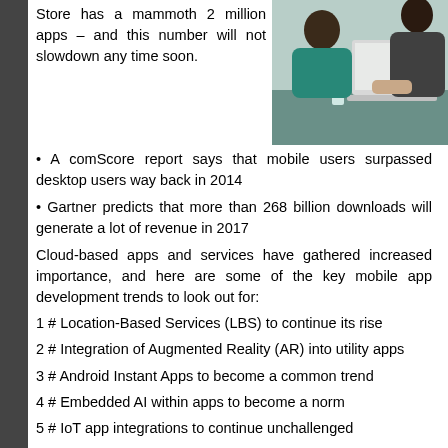Store has a mammoth 2 million apps – and this number will not slowdown any time soon.
[Figure (photo): Two women seated at a table with a laptop, in a meeting or office setting]
• A comScore report says that mobile users surpassed desktop users way back in 2014
• Gartner predicts that more than 268 billion downloads will generate a lot of revenue in 2017
Cloud-based apps and services have gathered increased importance, and here are some of the key mobile app development trends to look out for:
1 # Location-Based Services (LBS) to continue its rise
2 # Integration of Augmented Reality (AR) into utility apps
3 # Android Instant Apps to become a common trend
4 # Embedded AI within apps to become a norm
5 # IoT app integrations to continue unchallenged
6 # Application security to be more important than ever before
(Read full article authored by Jayavardhan BN, CEO & Co-foun